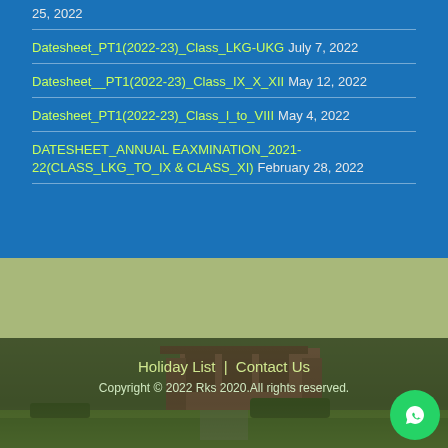25, 2022
Datesheet_PT1(2022-23)_Class_LKG-UKG July 7, 2022
Datesheet__PT1(2022-23)_Class_IX_X_XII May 12, 2022
Datesheet_PT1(2022-23)_Class_I_to_VIII May 4, 2022
DATESHEET_ANNUAL EAXMINATION_2021-22(CLASS_LKG_TO_IX & CLASS_XI) February 28, 2022
Holiday List   Contact Us
Copyright © 2022 Rks 2020.All rights reserved.